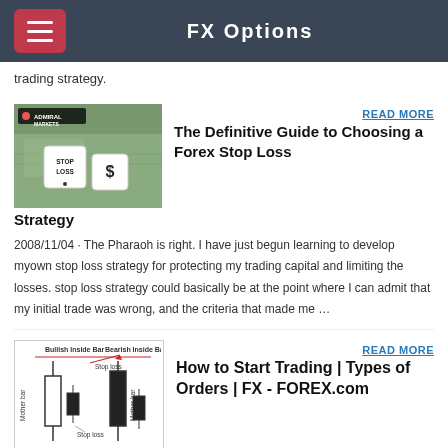FX Options
trading strategy.
[Figure (photo): Dice showing STOP LOSS and dollar sign on currency notes background, with Admiral Markets logo]
READ MORE
The Definitive Guide to Choosing a Forex Stop Loss Strategy
2008/11/04 · The Pharaoh is right. I have just begun learning to develop myown stop loss strategy for protecting my trading capital and limiting the losses. stop loss strategy could basically be at the point where I can admit that my initial trade was wrong, and the criteria that made me …
[Figure (illustration): Candlestick chart showing Bullish Inside Bar and Bearish Inside Bar with Mother bar, Stop loss markers labeled]
READ MORE
How to Start Trading | Types of Orders | FX - FOREX.com
Use this Stop Loss/Take Profit Calculator